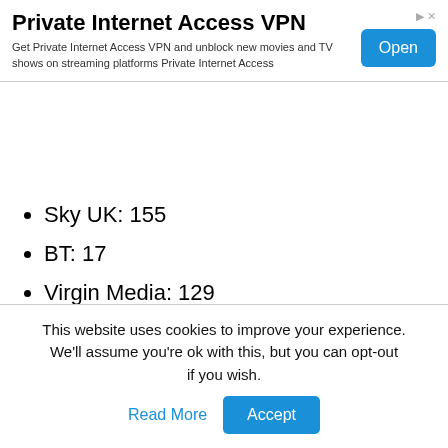[Figure (screenshot): Advertisement banner for Private Internet Access VPN with title, description text and Open button]
Sky UK: 155
BT: 17
Virgin Media: 129
Yesterday
Freeview: 19
Sky UK: 537
This website uses cookies to improve your experience. We'll assume you're ok with this, but you can opt-out if you wish.
Read More  Accept